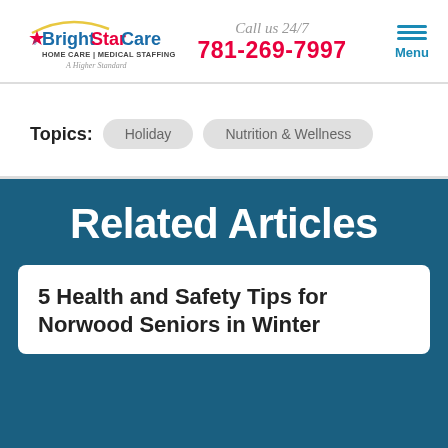[Figure (logo): BrightStar Care logo with star icon, arc, HOME CARE | MEDICAL STAFFING subtitle, and A Higher Standard tagline]
Call us 24/7
781-269-7997
[Figure (other): Hamburger menu icon with three horizontal lines and Menu label]
Topics:  Holiday  Nutrition & Wellness
Related Articles
5 Health and Safety Tips for Norwood Seniors in Winter